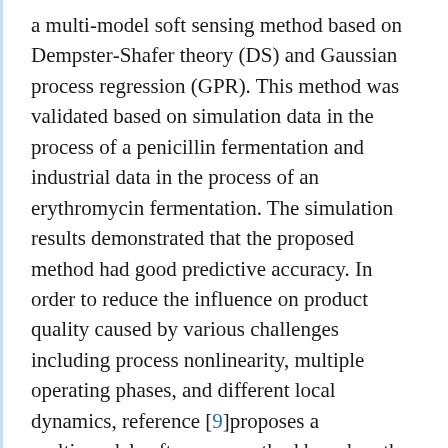a multi-model soft sensing method based on Dempster-Shafer theory (DS) and Gaussian process regression (GPR). This method was validated based on simulation data in the process of a penicillin fermentation and industrial data in the process of an erythromycin fermentation. The simulation results demonstrated that the proposed method had good predictive accuracy. In order to reduce the influence on product quality caused by various challenges including process nonlinearity, multiple operating phases, and different local dynamics, reference [9]proposes a multi-model soft sensor method based on the JITL method. The proposed method uses the Gaussian mixture model (GMM) to distinguish the data from different operating phases. A Tennessee Eastman (TE) chemical process is used to show the effectiveness and feasibility of this approach. The results demonstrate that the approach provides higher predictive accuracy.